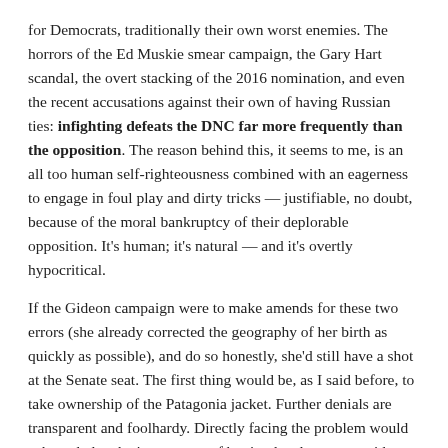for Democrats, traditionally their own worst enemies.  The horrors of the Ed Muskie smear campaign, the Gary Hart scandal, the overt stacking of the 2016 nomination, and even the recent accusations against their own of having Russian ties:  infighting defeats the DNC far more frequently than the opposition.  The reason behind this, it seems to me, is an all too human self-righteousness combined with an eagerness to engage in foul play and dirty tricks — justifiable, no doubt, because of the moral bankruptcy of their deplorable opposition.  It's human; it's natural — and it's overtly hypocritical.
If the Gideon campaign were to make amends for these two errors (she already corrected the geography of her birth as quickly as possible), and do so honestly, she'd still have a shot at the Senate seat.  The first thing would be, as I said before, to take ownership of the Patagonia jacket.  Further denials are transparent and foolhardy.  Directly facing the problem would acknowledge the importance of buying local to state residents, and it would embrace truthfulness — virtues beyond price to Maine folks.
The second issue is trickier. She would have to distinguish herself on the...